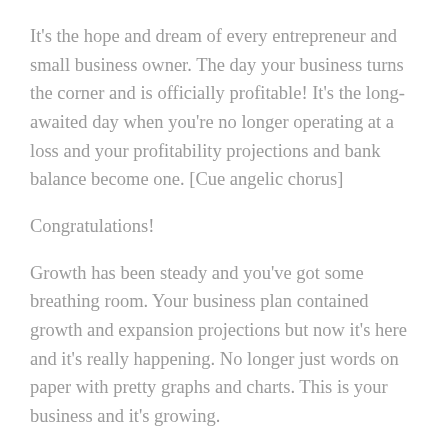It's the hope and dream of every entrepreneur and small business owner. The day your business turns the corner and is officially profitable! It's the long-awaited day when you're no longer operating at a loss and your profitability projections and bank balance become one. [Cue angelic chorus]
Congratulations!
Growth has been steady and you've got some breathing room. Your business plan contained growth and expansion projections but now it's here and it's really happening. No longer just words on paper with pretty graphs and charts. This is your business and it's growing.
With that growth comes some pretty jolting changes if you weren't expecting them; here are three of them and how you can navigate through